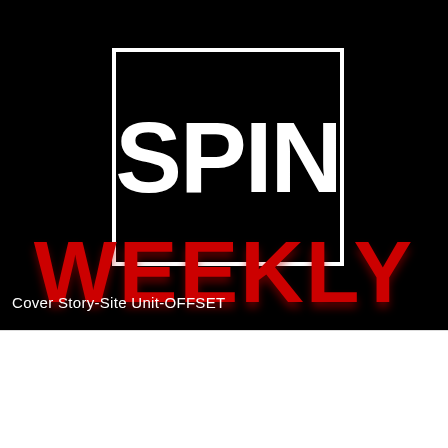[Figure (logo): SPIN Weekly logo on black background. White bordered rectangle containing 'SPIN' in large white bold letters, with 'WEEKLY' in large bold red letters below.]
Cover Story-Site Unit-OFFSET
Frontgate SALES
20% off sitewide plus free shipping from August 19-22
frontgate.com